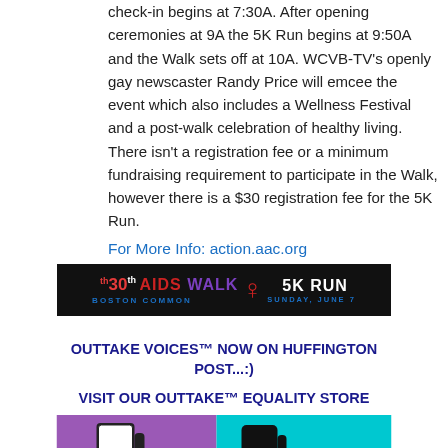check-in begins at 7:30A. After opening ceremonies at 9A the 5K Run begins at 9:50A and the Walk sets off at 10A. WCVB-TV's openly gay newscaster Randy Price will emcee the event which also includes a Wellness Festival and a post-walk celebration of healthy living. There isn't a registration fee or a minimum fundraising requirement to participate in the Walk, however there is a $30 registration fee for the 5K Run.
For More Info: action.aac.org
[Figure (infographic): Banner for '30th AIDS WALK & 5K RUN, Boston Common, Sunday, June 7' on a black background with red, purple and white text.]
OUTTAKE VOICES™ NOW ON HUFFINGTON POST...:)
VISIT OUR OUTTAKE™ EQUALITY STORE
[Figure (photo): Partial image of mugs/products on a purple and teal background.]